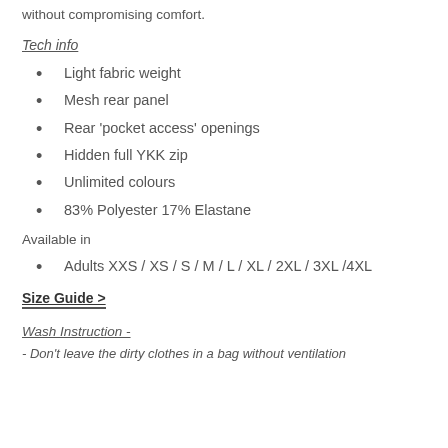without compromising comfort.
Tech info
Light fabric weight
Mesh rear panel
Rear 'pocket access' openings
Hidden full YKK zip
Unlimited colours
83% Polyester 17% Elastane
Available in
Adults XXS / XS / S / M / L / XL / 2XL / 3XL /4XL
Size Guide >
Wash Instruction  -
- Don't leave the dirty clothes in a bag without ventilation